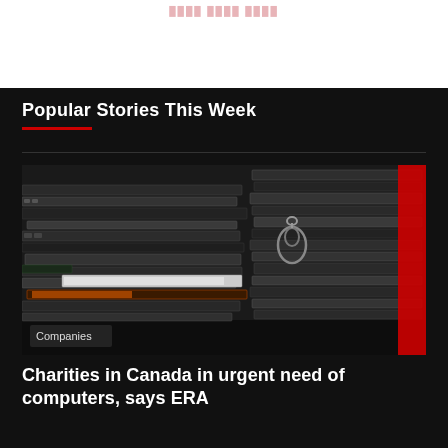Popular Stories This Week
[Figure (photo): Stack of multiple old laptops piled on top of each other, photographed from the side. A red vertical accent is visible on the right edge. A label reading 'Companies' appears in the lower left corner of the image.]
Charities in Canada in urgent need of computers, says ERA